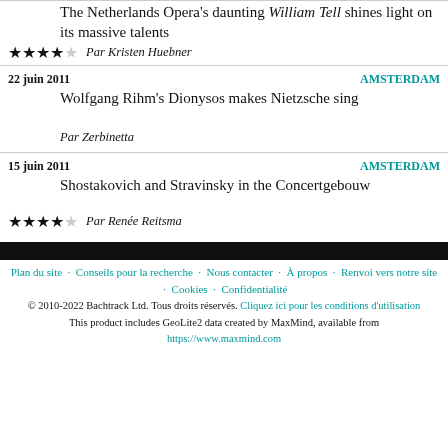The Netherlands Opera's daunting William Tell shines light on its massive talents
Par Kristen Huebner
22 juin 2011   AMSTERDAM
Wolfgang Rihm's Dionysos makes Nietzsche sing
Par Zerbinetta
15 juin 2011   AMSTERDAM
Shostakovich and Stravinsky in the Concertgebouw
Par Renée Reitsma
Plan du site · Conseils pour la recherche · Nous contacter · À propos · Renvoi vers notre site · Cookies · Confidentialité
© 2010-2022 Bachtrack Ltd. Tous droits réservés. Cliquez ici pour les conditions d'utilisation
This product includes GeoLite2 data created by MaxMind, available from https://www.maxmind.com